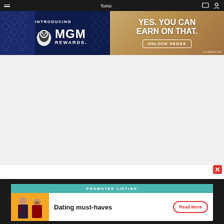Navigation bar with hamburger menu and icons
[Figure (advertisement): MGM Rewards advertisement banner. Left side: dark navy blue background with diamond patterns, text 'INTRODUCING' and MGM Rewards logo with lion. Right side: warm golden/tan background with text 'YES. YOU CAN EARN ON THAT.' and a button 'UNLOCK VEGAS'. Bottom right: '+ KARGO AD' label.]
[Figure (advertisement): Promoted listing ad bar. Header: teal background with 'PROMOTED LISTING' text. Body: left side has photo of a man and woman on yellow background, right side has text 'Dating must-haves' and a red outlined 'Read More' button.]